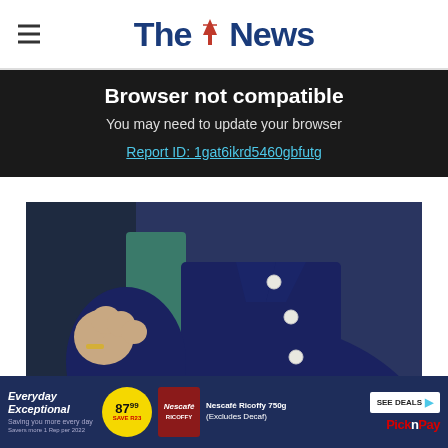The News
Browser not compatible
You may need to update your browser
Report ID: 1gat6ikrd5460gbfutg
[Figure (photo): Close-up photo of a person wearing a navy blue button-up jacket, holding a car door handle, with a ring on their finger]
[Figure (infographic): Pick n Pay advertisement banner: Everyday Exceptional, price 87.99, Nescafé Ricoffy 750g (Excludes Decaf), SEE DEALS button, Pick n Pay logo]